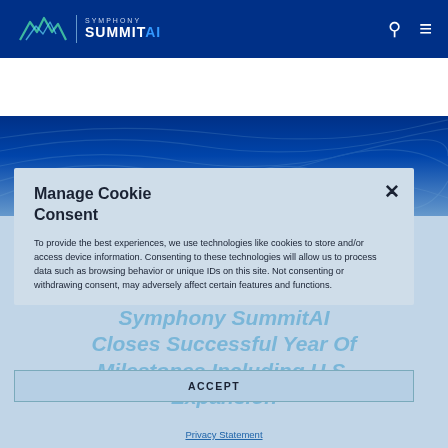Symphony SummitAI navigation bar with logo, search and menu icons
[Figure (screenshot): Symphony SummitAI website header with dark blue navbar containing logo, search icon and hamburger menu, and a dark blue hero banner with topographic lines]
Manage Cookie Consent
To provide the best experiences, we use technologies like cookies to store and/or access device information. Consenting to these technologies will allow us to process data such as browsing behavior or unique IDs on this site. Not consenting or withdrawing consent, may adversely affect certain features and functions.
ACCEPT
Symphony SummitAI Closes Successful Year Of Milestones Including U.S. Expansion
Privacy Statement